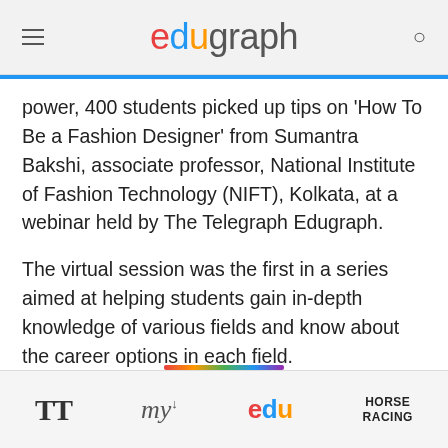edugraph
power, 400 students picked up tips on 'How To Be a Fashion Designer' from Sumantra Bakshi, associate professor, National Institute of Fashion Technology (NIFT), Kolkata, at a webinar held by The Telegraph Edugraph.
The virtual session was the first in a series aimed at helping students gain in-depth knowledge of various fields and know about the career options in each field.
Understanding the Fashion Designing course
TT | my | edu | HORSE RACING